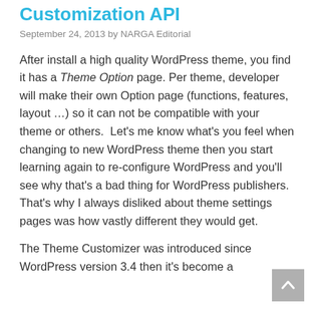Customization API
September 24, 2013 by NARGA Editorial
After install a high quality WordPress theme, you find it has a Theme Option page. Per theme, developer will make their own Option page (functions, features, layout ...) so it can not be compatible with your theme or others.  Let’s me know what’s you feel when changing to new WordPress theme then you start learning again to re-configure WordPress and you’ll see why that’s a bad thing for WordPress publishers. That’s why I always disliked about theme settings pages was how vastly different they would get.
The Theme Customizer was introduced since WordPress version 3.4 then it’s become a